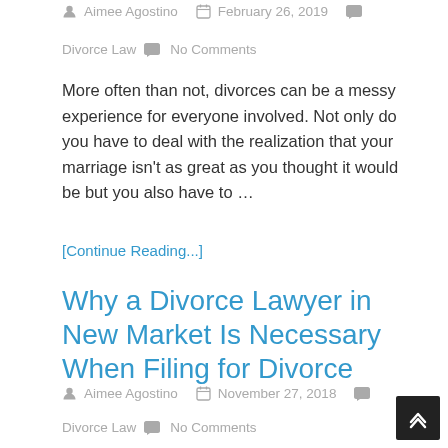Aimee Agostino  February 26, 2019
Divorce Law  No Comments
More often than not, divorces can be a messy experience for everyone involved. Not only do you have to deal with the realization that your marriage isn't as great as you thought it would be but you also have to …
[Continue Reading...]
Why a Divorce Lawyer in New Market Is Necessary When Filing for Divorce
Aimee Agostino  November 27, 2018
Divorce Law  No Comments